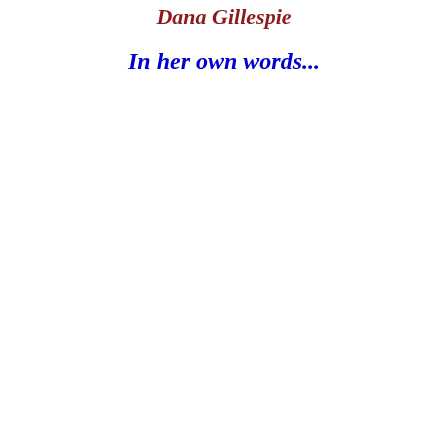Dana Gillespie
In her own words...